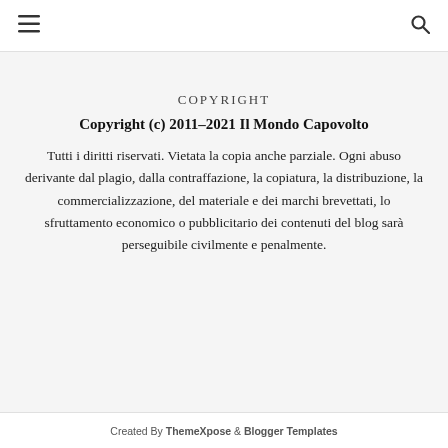☰  🔍
COPYRIGHT
Copyright (c) 2011–2021 Il Mondo Capovolto
Tutti i diritti riservati. Vietata la copia anche parziale. Ogni abuso derivante dal plagio, dalla contraffazione, la copiatura, la distribuzione, la commercializzazione, del materiale e dei marchi brevettati, lo sfruttamento economico o pubblicitario dei contenuti del blog sarà perseguibile civilmente e penalmente.
Created By ThemeXpose & Blogger Templates